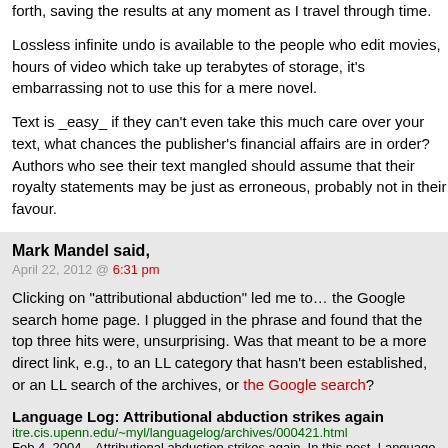forth, saving the results at any moment as I travel through time.
Lossless infinite undo is available to the people who edit movies, hours of video which take up terabytes of storage, it's embarrassing not to use this for a mere novel.
Text is _easy_ if they can't even take this much care over your text, what chances the publisher's financial affairs are in order? Authors who see their text mangled should assume that their royalty statements may be just as erroneous, probably not in their favour.
Mark Mandel said,
April 22, 2012 @ 6:31 pm
Clicking on "attributional abduction" led me to… the Google search home page. I plugged in the phrase and found that the top three hits were, unsurprising. Was that meant to be a more direct link, e.g., to an LL category that hasn't been established, or an LL search of the archives, or the Google search?
Language Log: Attributional abduction strikes again
itre.cis.upenn.edu/~myl/languagelog/archives/000421.html
Feb 4, 2004 – Attributional abduction strikes again. In this post, Language Log rebukes linguist David Harrison for the recent press coverage of David's